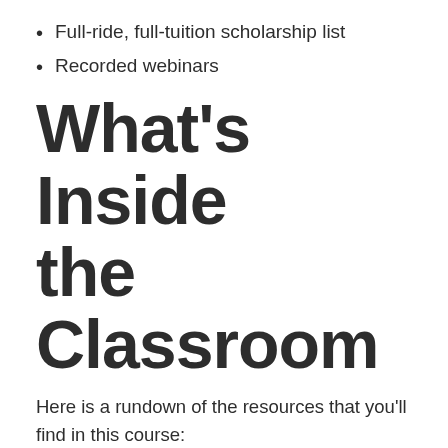Full-ride, full-tuition scholarship list
Recorded webinars
What's Inside the Classroom
Here is a rundown of the resources that you'll find in this course:
1. Written Lessons